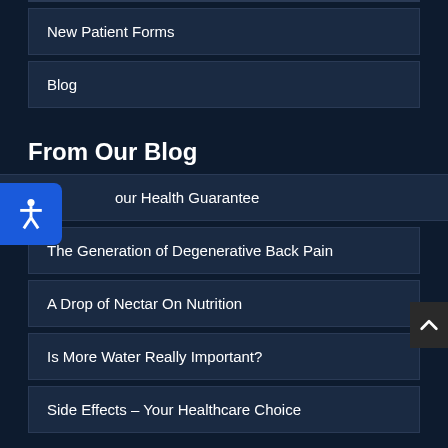New Patient Forms
Blog
From Our Blog
our Health Guarantee
The Generation of Degenerative Back Pain
A Drop of Nectar On Nutrition
Is More Water Really Important?
Side Effects – Your Healthcare Choice